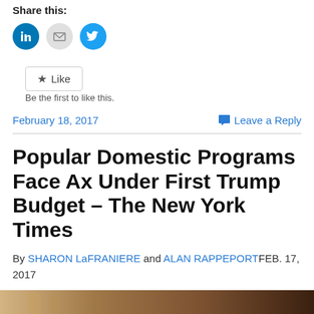Share this:
[Figure (other): Social sharing icons: LinkedIn (blue circle), Email (grey circle), Twitter (blue circle)]
Like  Be the first to like this.
February 18, 2017    Leave a Reply
Popular Domestic Programs Face Ax Under First Trump Budget – The New York Times
By SHARON LaFRANIERE and ALAN RAPPEPORTFEB. 17, 2017
[Figure (photo): Partial photo at bottom of page, appears to show a decorative architectural or interior scene with warm brown tones]